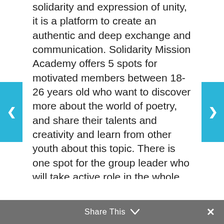...solidarity and expression of unity, it is a platform to create an authentic and deep exchange and communication. Solidarity Mission Academy offers 5 spots for motivated members between 18-26 years old who want to discover more about the world of poetry, and share their talents and creativity and learn from other youth about this topic. There is one spot for the group leader who will take active role in the whole program. See more criteria and information in the infoletter. Learn how to become a member here: http://solidaritymission.org/missioner/
#Note1 ⚠️: For the Greek team, with your participation to this program, you are signing up for taking part in all the activities of the program, including the